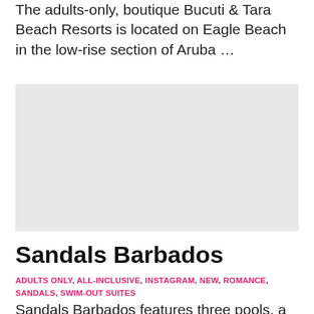The adults-only, boutique Bucuti & Tara Beach Resorts is located on Eagle Beach in the low-rise section of Aruba …
[Figure (photo): Placeholder image area for a resort photo, light gray background]
Sandals Barbados
ADULTS ONLY, ALL-INCLUSIVE, INSTAGRAM, NEW, ROMANCE, SANDALS, SWIM-OUT SUITES
Sandals Barbados features three pools, a